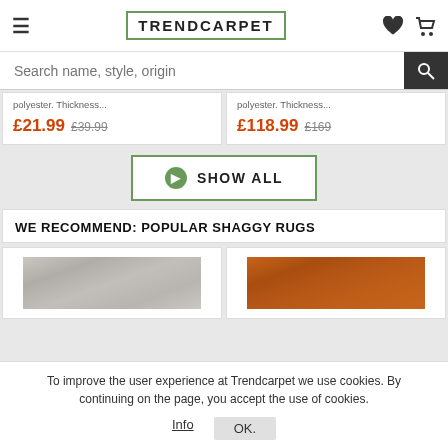TRENDCARPET
polyester. Thickness...
£21.99 £39.99
polyester. Thickness...
£118.99 £169
SHOW ALL
WE RECOMMEND: POPULAR SHAGGY RUGS
[Figure (photo): Gray shaggy rug thumbnail]
[Figure (photo): Orange/rust shaggy rug thumbnail]
To improve the user experience at Trendcarpet we use cookies. By continuing on the page, you accept the use of cookies.
Info OK.